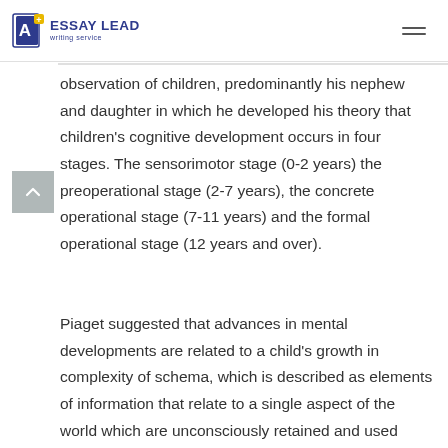ESSAY LEAD writing service
observation of children, predominantly his nephew and daughter in which he developed his theory that children's cognitive development occurs in four stages. The sensorimotor stage (0-2 years) the preoperational stage (2-7 years), the concrete operational stage (7-11 years) and the formal operational stage (12 years and over).
Piaget suggested that advances in mental developments are related to a child's growth in complexity of schema, which is described as elements of information that relate to a single aspect of the world which are unconsciously retained and used when needed. He proposed